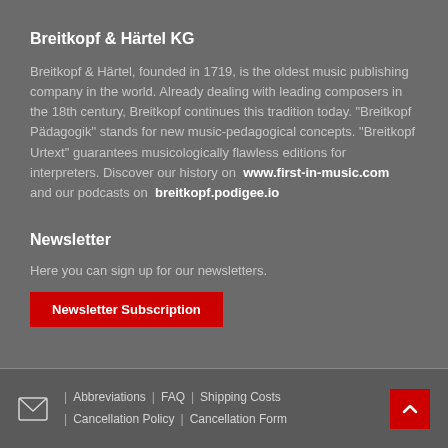Breitkopf & Härtel KG
Breitkopf & Härtel, founded in 1719, is the oldest music publishing company in the world. Already dealing with leading composers in the 18th century, Breitkopf continues this tradition today. "Breitkopf Pädagogik" stands for new music-pedagogical concepts. "Breitkopf Urtext" guarantees musicologically flawless editions for interpreters. Discover our history on www.first-in-music.com and our podcasts on breitkopf.podigee.io
Newsletter
Here you can sign up for our newsletters.
Newsletter Subscription
✉ | Abbreviations | FAQ | Shipping Costs | Cancellation Policy | Cancellation Form